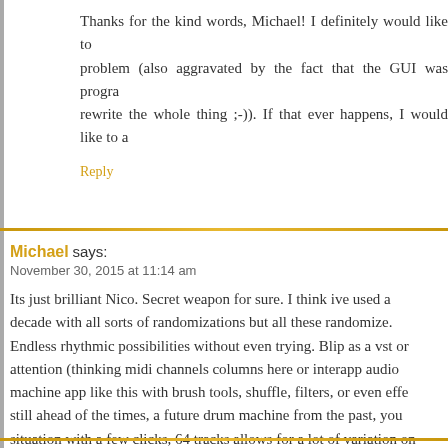Thanks for the kind words, Michael! I definitely would like to problem (also aggravated by the fact that the GUI was progra rewrite the whole thing ;-)). If that ever happens, I would like to a
Reply
Michael says:
November 30, 2015 at 11:14 am
Its just brilliant Nico. Secret weapon for sure. I think ive used a decade with all sorts of randomizations but all these randomize. Endless rhythmic possibilities without even trying. Blip as a vst or attention (thinking midi channels columns here or interapp audio machine app like this with brush tools, shuffle, filters, or even effe still ahead of the times, a future drum machine from the past, you situation with a few clicks, 64 tracks allows for a lot of variation on you nailed it to close a certain gap in drum machine design. In a p news in a few years 🙂 but its very time consuming to get things w piece of gear ! Cheers!
Reply